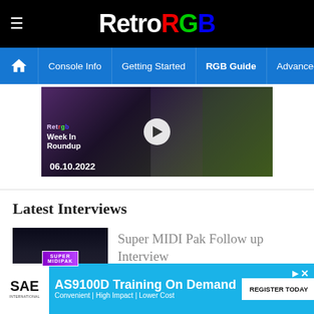RetroRGB
Console Info | Getting Started | RGB Guide | Advanced RGB Info | Ab
[Figure (screenshot): Video thumbnail showing RetroRGB Week In Roundup dated 06.10.2022 with a play button overlay]
Latest Interviews
[Figure (screenshot): Thumbnail image of Super MIDI Pak device on a desk]
Super MIDI Pak Follow up Interview
AS9100D Training On Demand
Convenient | High Impact | Lower Cost
REGISTER TODAY